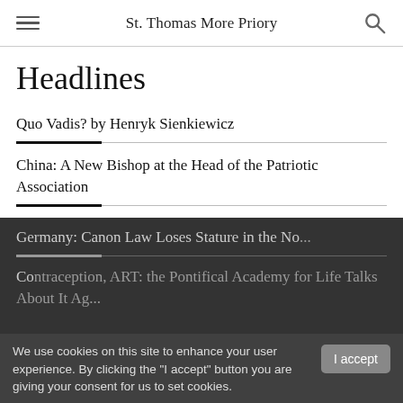St. Thomas More Priory
Headlines
Quo Vadis? by Henryk Sienkiewicz
China: A New Bishop at the Head of the Patriotic Association
Germany: Canon Law Loses Stature in the No...
Contraception, ART: the Pontifical Academy for Life Talks About It Ag...
We use cookies on this site to enhance your user experience. By clicking the "I accept" button you are giving your consent for us to set cookies.